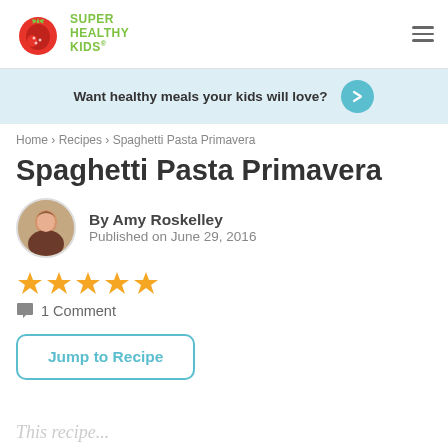Super Healthy Kids
Want healthy meals your kids will love?
Home > Recipes > Spaghetti Pasta Primavera
Spaghetti Pasta Primavera
By Amy Roskelley
Published on June 29, 2016
[Figure (other): Five gold/yellow star rating icons]
1 Comment
Jump to Recipe
This recipe...